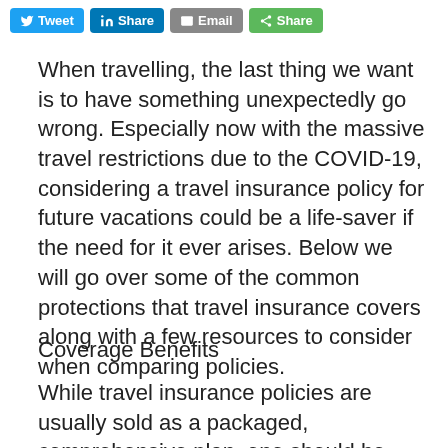[Figure (screenshot): Social sharing buttons row: Tweet (Twitter/blue), Share (LinkedIn/blue), Email (grey), Share (green)]
When travelling, the last thing we want is to have something unexpectedly go wrong. Especially now with the massive travel restrictions due to the COVID-19, considering a travel insurance policy for future vacations could be a life-saver if the need for it ever arises. Below we will go over some of the common protections that travel insurance covers along with a few resources to consider when comparing policies.
Coverage Benefits
While travel insurance policies are usually sold as a packaged, comprehensive plan, one should be aware of what is typically covered by a policy. Below are some of the common coverage